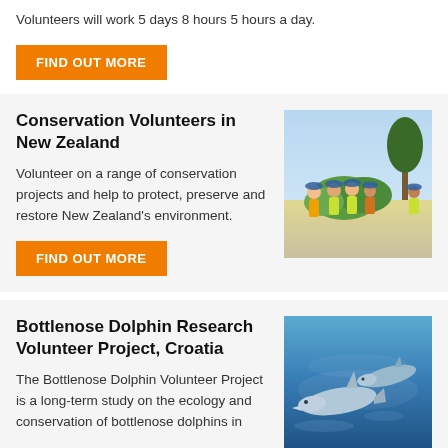Volunteers will work 5 days 8 hours 5 hours a day.
FIND OUT MORE
Conservation Volunteers in New Zealand
Volunteer on a range of conservation projects and help to protect, preserve and restore New Zealand's environment.
[Figure (photo): Group of volunteers in green vests and blue hats crouching near plants outdoors in New Zealand]
FIND OUT MORE
Bottlenose Dolphin Research Volunteer Project, Croatia
The Bottlenose Dolphin Volunteer Project is a long-term study on the ecology and conservation of bottlenose dolphins in
[Figure (photo): Two bottlenose dolphins swimming underwater in blue ocean]